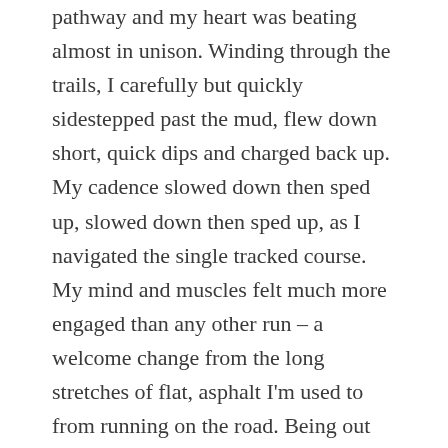pathway and my heart was beating almost in unison. Winding through the trails, I carefully but quickly sidestepped past the mud, flew down short, quick dips and charged back up. My cadence slowed down then sped up, slowed down then sped up, as I navigated the single tracked course. My mind and muscles felt much more engaged than any other run – a welcome change from the long stretches of flat, asphalt I'm used to from running on the road. Being out there amongst the dirt, mud and grass, and chasing the feet in front of me was wildly liberating. Something I was longing to feel.
I ended up beating my previous time by three minutes and was third overall female. While those accomplishments were amazing, none of it really mattered. To me, it was about my reason for being there; teaching myself how to let go of my own inhibitions. I